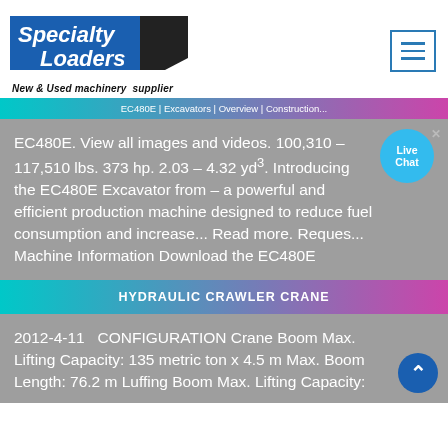[Figure (logo): Specialty Loaders logo with blue background and black arrow shape, tagline: New & Used machinery supplier]
EC480E | Excavators | Overview | Construction...
EC480E. View all images and videos. 100,310 – 117,510 lbs. 373 hp. 2.03 – 4.32 yd³. Introducing the EC480E Excavator from – a powerful and efficient production machine designed to reduce fuel consumption and increase... Read more. Reques... Machine Information Download the EC480E
HYDRAULIC CRAWLER CRANE
2012-4-11 · CONFIGURATION Crane Boom Max. Lifting Capacity: 135 metric ton x 4.5 m Max. Boom Length: 76.2 m Luffing Boom Max. Lifting Capacity: